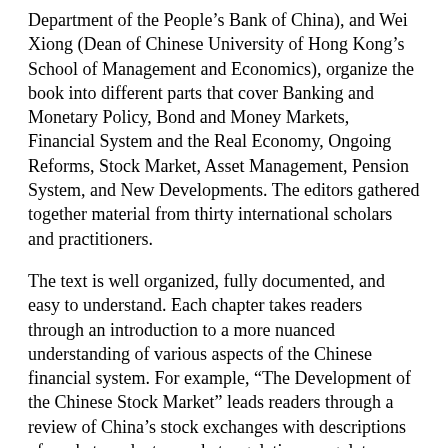Department of the People's Bank of China), and Wei Xiong (Dean of Chinese University of Hong Kong's School of Management and Economics), organize the book into different parts that cover Banking and Monetary Policy, Bond and Money Markets, Financial System and the Real Economy, Ongoing Reforms, Stock Market, Asset Management, Pension System, and New Developments. The editors gathered together material from thirty international scholars and practitioners.
The text is well organized, fully documented, and easy to understand. Each chapter takes readers through an introduction to a more nuanced understanding of various aspects of the Chinese financial system. For example, “The Development of the Chinese Stock Market” leads readers through a review of China’s stock exchanges with descriptions of market products, market regulations, regulatory agencies, integration with global markets, Chinese market characteristics (e.g., many individual investors, high-turnover ratios), and past crises and future reforms. Chapters include endnotes and a list of reputable current references, most of which are journal articles and working papers. Chapters also display many graphics; there are more than two hundred illustrations, over sixty tables, and three maps.